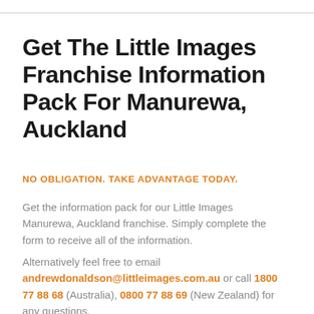Get The Little Images Franchise Information Pack For Manurewa, Auckland
NO OBLIGATION. TAKE ADVANTAGE TODAY.
Get the information pack for our Little Images Manurewa, Auckland franchise. Simply complete the form to receive all of the information.
Alternatively feel free to email andrewdonaldson@littleimages.com.au or call 1800 77 88 68 (Australia), 0800 77 88 69 (New Zealand) for any questions.